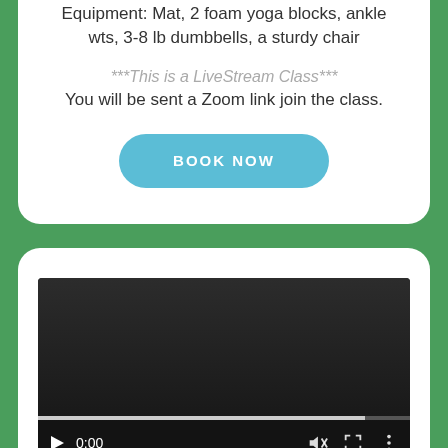Equipment: Mat, 2 foam yoga blocks, ankle wts, 3-8 lb dumbbells, a sturdy chair
***This is a LiveStream Class***
You will be sent a Zoom link join the class.
BOOK NOW
[Figure (screenshot): Video player showing a black screen with playback controls: play button, timestamp 0:00, mute icon, fullscreen icon, and options icon. A progress bar is visible at the bottom.]